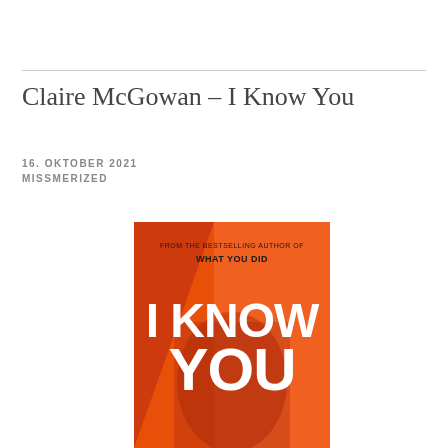Claire McGowan – I Know You
16. OKTOBER 2021
MISSMERIZED
[Figure (photo): Book cover of 'I Know You' by Claire McGowan. Orange and red cover showing a woman's face partially obscured. Text reads 'FROM THE BESTSELLING AUTHOR OF WHAT YOU DID' at the top, and large white text 'I KNOW YOU' in the center.]